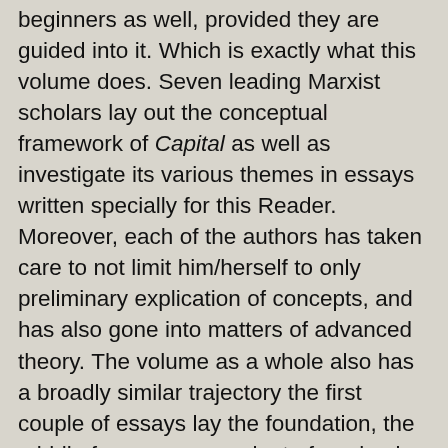beginners as well, provided they are guided into it. Which is exactly what this volume does. Seven leading Marxist scholars lay out the conceptual framework of Capital as well as investigate its various themes in essays written specially for this Reader. Moreover, each of the authors has taken care to not limit him/herself to only preliminary explication of concepts, and has also gone into matters of advanced theory. The volume as a whole also has a broadly similar trajectory the first couple of essays lay the foundation, the middle four essays graduate from basic concepts to theoretical discussion and debates, and the last essay does not go into basic concepts at all, but applies the method of Capital to theorise about contemporary capitalism. This introductory Reader, then, does two things: it equips new readers with the basic conceptual keys that could unlock the vast treasure trove of Marx's analysis and insights, as well as offering fresh insights into Marx's magnificent work to the initiated.